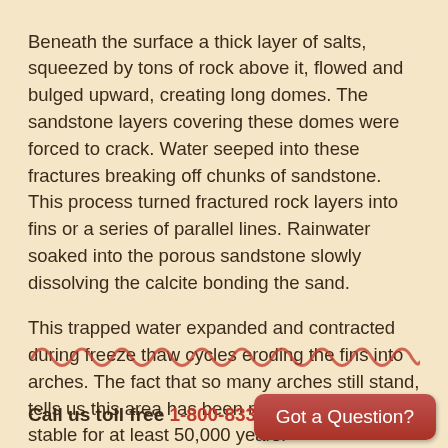Beneath the surface a thick layer of salts, squeezed by tons of rock above it, flowed and bulged upward, creating long domes. The sandstone layers covering these domes were forced to crack. Water seeped into these fractures breaking off chunks of sandstone. This process turned fractured rock layers into fins or a series of parallel lines. Rainwater soaked into the porous sandstone slowly dissolving the calcite bonding the sand.
This trapped water expanded and contracted during freeze thaw cycles eroding the fins into arches. The fact that so many arches still stand, tells us this area has been rather geologically stable for at least 50,000 years.
[Figure (illustration): Decorative wavy/curly line divider in reddish-brown color]
Call us toll free 1-800-833-1278
Got a Question?